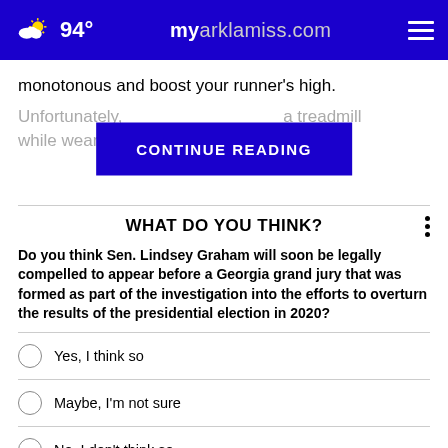94° myarklamiss.com
monotonous and boost your runner's high.
Unfortunately, [CONTINUE READING] a treadmill while wearing [obscured] n he
WHAT DO YOU THINK?
Do you think Sen. Lindsey Graham will soon be legally compelled to appear before a Georgia grand jury that was formed as part of the investigation into the efforts to overturn the results of the presidential election in 2020?
Yes, I think so
Maybe, I'm not sure
No, I don't think so
Other / No opinion